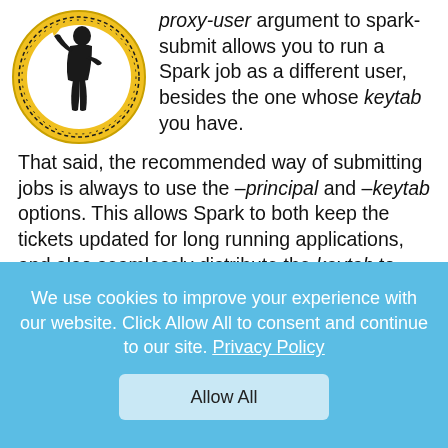[Figure (logo): Round logo with a Greek/mythological figure silhouette in black and yellow, with a decorative border]
proxy-user argument to spark-submit allows you to run a Spark job as a different user, besides the one whose keytab you have. That said, the recommended way of submitting jobs is always to use the –principal and –keytab options. This allows Spark to both keep the tickets updated for long running applications, and also seamlessly distribute the keytab to any nodes spinning up an executor.
It is possible to use –proxy-user with Transformer and
We use cookies to improve your experience with our website. Click Allow All to consent and continue to our site. Privacy Policy
Allow All